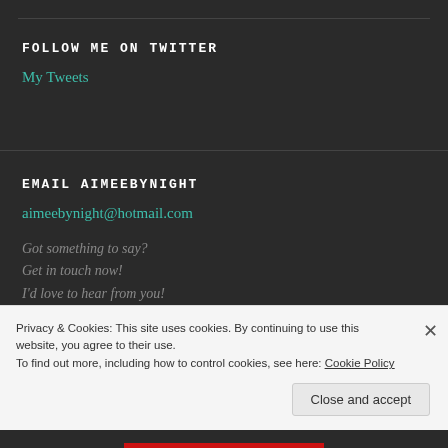FOLLOW ME ON TWITTER
My Tweets
EMAIL AIMEEBYNIGHT
aimeebynight@hotmail.com
Got something to say?
Get in touch now!
I'd love to hear from you!
Privacy & Cookies: This site uses cookies. By continuing to use this website, you agree to their use.
To find out more, including how to control cookies, see here: Cookie Policy
Close and accept